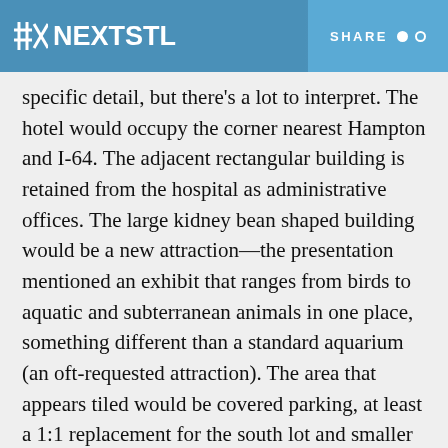NEXTSTL  SHARE
specific detail, but there's a lot to interpret. The hotel would occupy the corner nearest Hampton and I-64. The adjacent rectangular building is retained from the hospital as administrative offices. The large kidney bean shaped building would be a new attraction—the presentation mentioned an exhibit that ranges from birds to aquatic and subterranean animals in one place, something different than a standard aquarium (an oft-requested attraction). The area that appears tiled would be covered parking, at least a 1:1 replacement for the south lot and smaller north lot. It's estimated that moving nearly all parking outside Forest Park proper would decrease peak traffic by 40% within the park. A new pedestrian